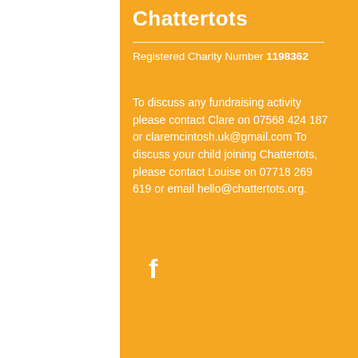Chattertots
Registered Charity Number 1198362
To discuss any fundraising activity please contact Clare on 07568 424 187 or claremcintosh.uk@gmail.com To discuss your child joining Chattertots, please contact Louise on 07718 269 619 or email hello@chattertots.org.
[Figure (logo): Facebook logo icon (letter f) in white]